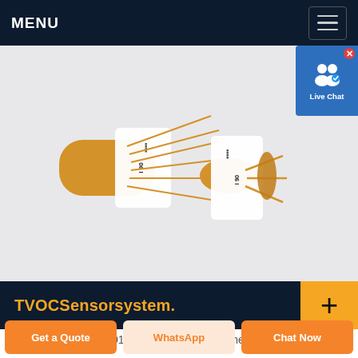MENU
[Figure (photo): Two TVOC gas sensor components with gold leads and white labeled cylindrical housings on a light gray background]
TVOCSensorsystem.
17/01/2018· Breathe easy with the SGP30
Get a Quote
WhatsApp
Chat Now